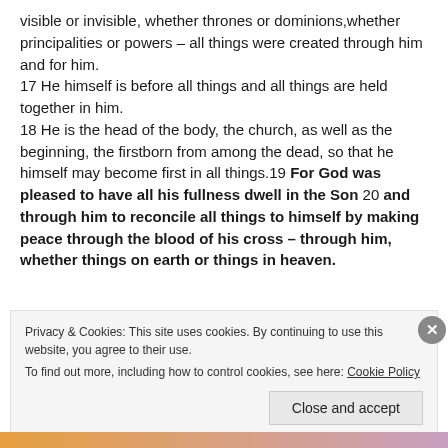visible or invisible, whether thrones or dominions, whether principalities or powers – all things were created through him and for him. 17 He himself is before all things and all things are held together in him. 18 He is the head of the body, the church, as well as the beginning, the firstborn from among the dead, so that he himself may become first in all things.19 For God was pleased to have all his fullness dwell in the Son 20 and through him to reconcile all things to himself by making peace through the blood of his cross – through him, whether things on earth or things in heaven.
Privacy & Cookies: This site uses cookies. By continuing to use this website, you agree to their use. To find out more, including how to control cookies, see here: Cookie Policy
Close and accept